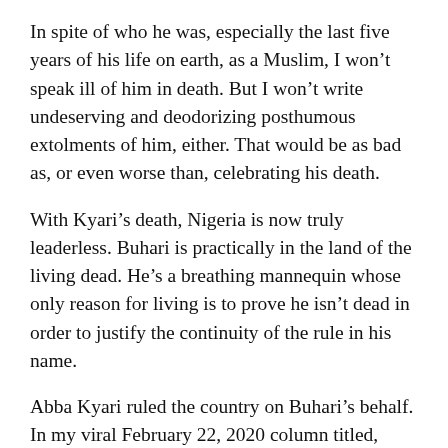In spite of who he was, especially the last five years of his life on earth, as a Muslim, I won't speak ill of him in death. But I won't write undeserving and deodorizing posthumous extolments of him, either. That would be as bad as, or even worse than, celebrating his death.
With Kyari's death, Nigeria is now truly leaderless. Buhari is practically in the land of the living dead. He's a breathing mannequin whose only reason for living is to prove he isn't dead in order to justify the continuity of the rule in his name.
Abba Kyari ruled the country on Buhari's behalf. In my viral February 22, 2020 column titled, “The Tragedy of the Abba Kyari Surrogate Presidency,” this line appeared: “Sometime in the midpoint of last year, a northern retired general told me Abba Kyari said in private that people who vilify him don’t realize that without him